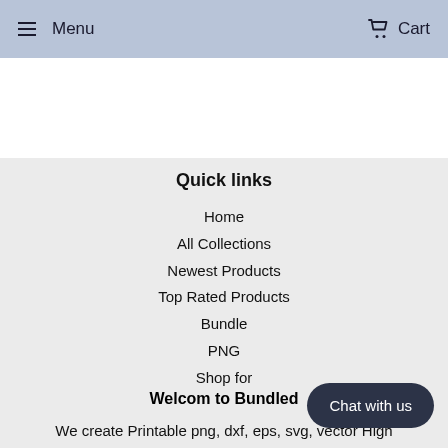Menu   Cart
Quick links
Home
All Collections
Newest Products
Top Rated Products
Bundle
PNG
Shop for
Welcom to Bundled
We create Printable png, dxf, eps, svg, vector High